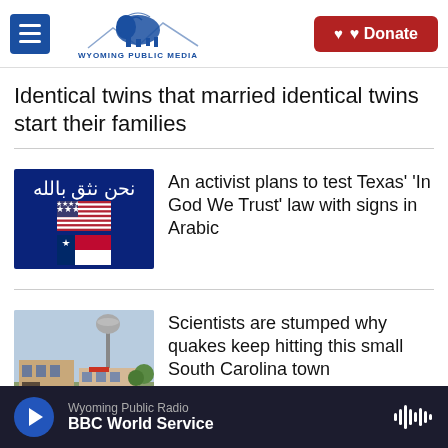Wyoming Public Media | Donate
Identical twins that married identical twins start their families
[Figure (illustration): Blue background sign with Arabic text 'نحن نثق بالله' above US and Texas flags]
An activist plans to test Texas' 'In God We Trust' law with signs in Arabic
[Figure (photo): Water tower and buildings in a small town, South Carolina]
Scientists are stumped why quakes keep hitting this small South Carolina town
Wyoming Public Radio | BBC World Service